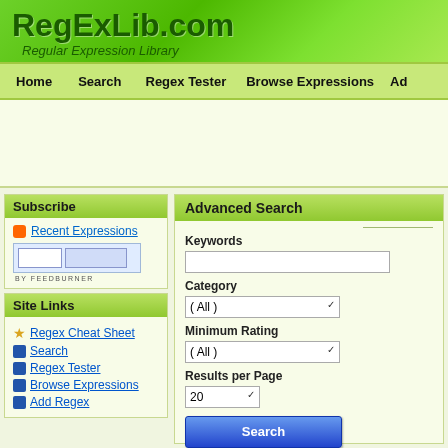RegExLib.com Regular Expression Library
Home | Search | Regex Tester | Browse Expressions | Ad
[Figure (screenshot): Advertisement banner area (light green background)]
Subscribe
Recent Expressions
BY FEEDBURNER
Site Links
Regex Cheat Sheet
Search
Regex Tester
Browse Expressions
Add Regex
Advanced Search
Keywords
Category
( All )
Minimum Rating
( All )
Results per Page
20
Search